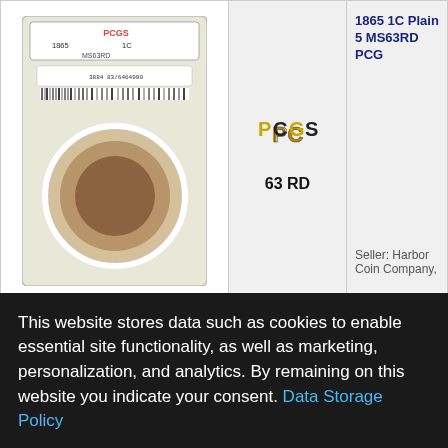1865 1C Plain 5 MS63RD PCGS
[Figure (photo): PCGS slabbed coin: 1865 Indian cent MS63RD, showing obverse in holder with barcode label]
[Figure (logo): PCGS logo badge with grade 63 RD]
Seller: Harbor Coin Company,
1866 1C MS63BN PCGS
[Figure (photo): Two-sided coin photo showing obverse and reverse of 1866 Indian cent MS63BN]
[Figure (logo): PCGS logo badge with grade 63 BN]
CAC
Seller: Harbor Coin Company,
1866 1C MS64RB PCGS
[Figure (photo): PCGS slabbed coin label: 1866 1C MS64RB with CAC sticker and barcode]
CAC
This website stores data such as cookies to enable essential site functionality, as well as marketing, personalization, and analytics. By remaining on this website you indicate your consent. Data Storage Policy